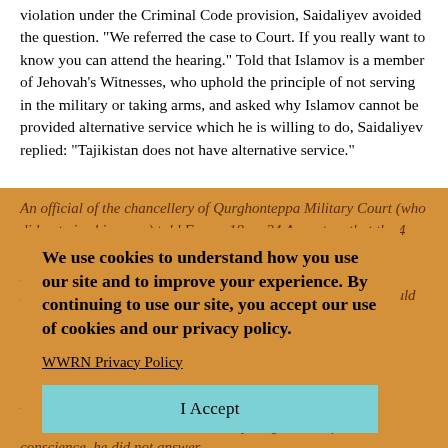violation under the Criminal Code provision, Saidaliyev avoided the question. "We referred the case to Court. If you really want to know you can attend the hearing." Told that Islamov is a member of Jehovah's Witnesses, who uphold the principle of not serving in the military or taking arms, and asked why Islamov cannot be provided alternative service which he is willing to do, Saidaliyev replied: "Tajikistan does not have alternative service."
An official of the chancellery of Qurghonteppa Military Court (who did not give his name) told Forum 18 on 24 August that the 4 criminal charges are in the prosecution to investigate the ... that could be ... over the said charges. Judge Alisher Rafikzoda, Chair of the Military Court, who will hear the case, replied, "Please be patient, we have not given our verdict yet." Asked why Tajikistan does not provide alternative service for those who cannot serve in the military on grounds of conscience, he did not answer.
We use cookies to understand how you use our site and to improve your experience. By continuing to use our site, you accept our use of cookies and our privacy policy.
WWRN Privacy Policy
I Accept